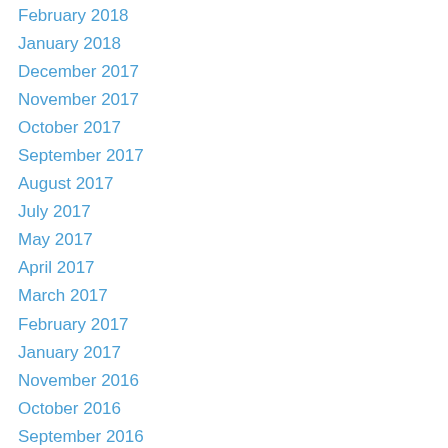February 2018
January 2018
December 2017
November 2017
October 2017
September 2017
August 2017
July 2017
May 2017
April 2017
March 2017
February 2017
January 2017
November 2016
October 2016
September 2016
August 2016
July 2016
June 2016
May 2016